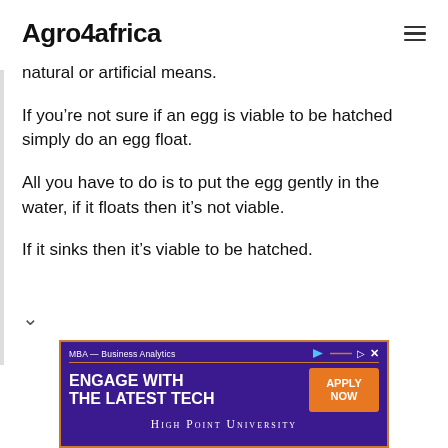Agro4africa
natural or artificial means.
If you’re not sure if an egg is viable to be hatched simply do an egg float.
All you have to do is to put the egg gently in the water, if it floats then it’s not viable.
If it sinks then it’s viable to be hatched.
[Figure (screenshot): Advertisement banner for High Point University MBA Business Analytics program with text 'ENGAGE WITH THE LATEST TECH' and an orange 'APPLY NOW' button on a dark purple background with gold border.]